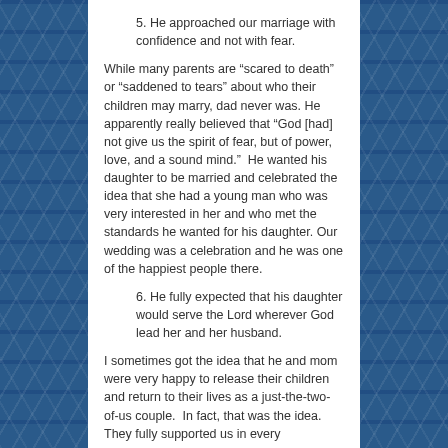5. He approached our marriage with confidence and not with fear.
While many parents are “scared to death” or “saddened to tears” about who their children may marry, dad never was. He apparently really believed that “God [had] not give us the spirit of fear, but of power, love, and a sound mind.”  He wanted his daughter to be married and celebrated the idea that she had a young man who was very interested in her and who met the standards he wanted for his daughter. Our wedding was a celebration and he was one of the happiest people there.
6. He fully expected that his daughter would serve the Lord wherever God lead her and her husband.
I sometimes got the idea that he and mom were very happy to release their children and return to their lives as a just-the-two-of-us couple.  In fact, that was the idea.  They fully supported us in every